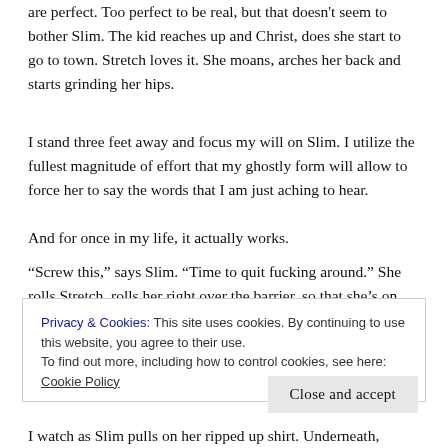are perfect. Too perfect to be real, but that doesn't seem to bother Slim. The kid reaches up and Christ, does she start to go to town. Stretch loves it. She moans, arches her back and starts grinding her hips.
I stand three feet away and focus my will on Slim. I utilize the fullest magnitude of effort that my ghostly form will allow to force her to say the words that I am just aching to hear.
And for once in my life, it actually works.
“Screw this,” says Slim. “Time to quit fucking around.” She rolls Stretch, rolls her right over the barrier, so that she’s on top now.
Privacy & Cookies: This site uses cookies. By continuing to use this website, you agree to their use.
To find out more, including how to control cookies, see here: Cookie Policy
Close and accept
I watch as Slim pulls on her ripped up shirt. Underneath, there's no